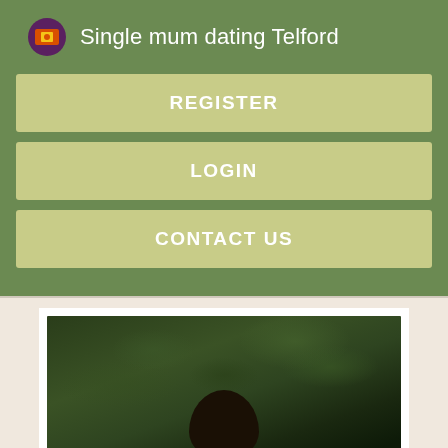Single mum dating Telford
REGISTER
LOGIN
CONTACT US
[Figure (photo): Dark photo of a person with foliage/leaves background, with 'Register NOW' text overlay]